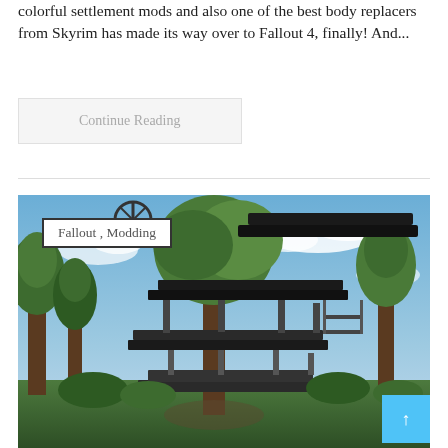colorful settlement mods and also one of the best body replacers from Skyrim has made its way over to Fallout 4, finally! And...
Continue Reading
[Figure (photo): Screenshot of a multi-tiered futuristic treehouse structure built around a large tree, surrounded by green foliage and a blue sky with clouds, from what appears to be the video game Fallout 4. A tag box reading 'Fallout , Modding' is overlaid on the image. A teal scroll-to-top button with an up arrow is visible in the bottom right corner.]